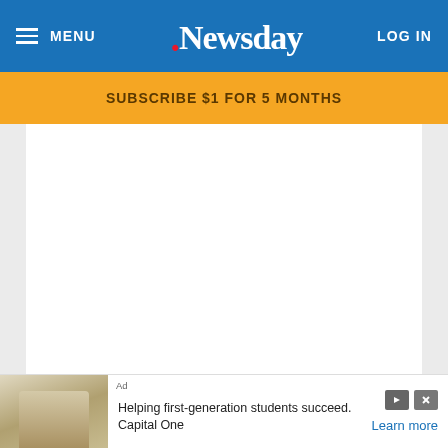MENU  Newsday  LOG IN
SUBSCRIBE $1 FOR 5 MONTHS
[Figure (other): White content area placeholder]
Ad  Helping first-generation students succeed.  Capital One  Learn more